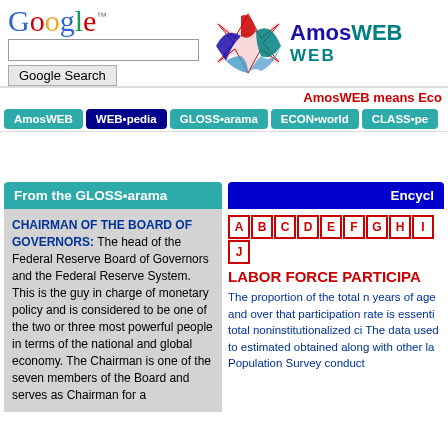[Figure (logo): Google search box with Google logo and Google Search button]
[Figure (logo): AmosWEB logo with colorful star/wing graphic and AmosWEB text in blue and teal]
AmosWEB means Eco
[Figure (other): Navigation bar with buttons: AmosWEB, WEB•pedia, GLOSS•arama, ECON•world, CLASS•pe]
From the GLOSS•arama
CHAIRMAN OF THE BOARD OF GOVERNORS: The head of the Federal Reserve Board of Governors and the Federal Reserve System. This is the guy in charge of monetary policy and is considered to be one of the two or three most powerful people in terms of the national and global economy. The Chairman is one of the seven members of the Board and serves as Chairman for a
Encycl
[Figure (other): Alphabet navigation buttons A B C D E F G H I J]
LABOR FORCE PARTICIPA
The proportion of the total n years of age and over that participation rate is essenti total noninstitutionalized ci The data used to estimated obtained along with other la Population Survey conduct